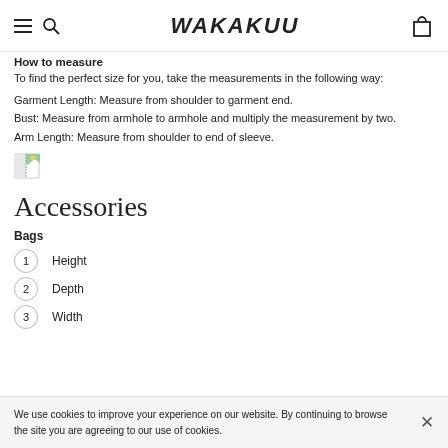WAKAKUU (navigation bar with hamburger menu, search icon, logo, and cart icon)
How to measure
To find the perfect size for you, take the measurements in the following way:
Garment Length: Measure from shoulder to garment end.
Bust: Measure from armhole to armhole and multiply the measurement by two.
Arm Length: Measure from shoulder to end of sleeve.
[Figure (photo): Broken/missing image thumbnail (small icon with torn image indicator)]
Accessories
Bags
1  Height
2  Depth
3  Width
We use cookies to improve your experience on our website. By continuing to browse the site you are agreeing to our use of cookies.